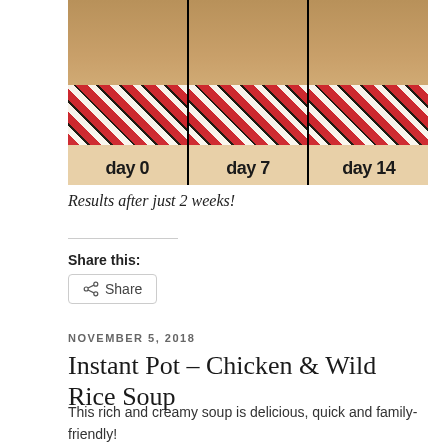[Figure (photo): Three-panel before/after photo comparison showing legs at day 0, day 7, and day 14 of a fitness/diet program, standing on a striped rug]
Results after just 2 weeks!
Share this:
Share
NOVEMBER 5, 2018
Instant Pot – Chicken & Wild Rice Soup
This rich and creamy soup is delicious, quick and family-friendly!